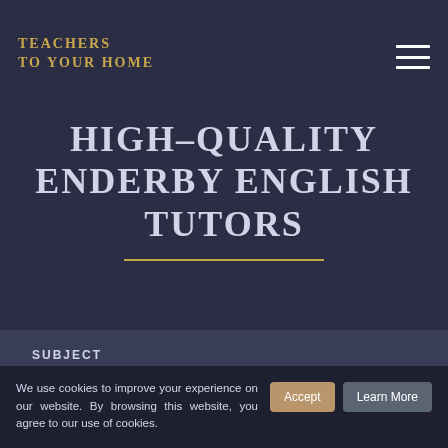TEACHERS TO YOUR HOME
HIGH-QUALITY ENDERBY ENGLISH TUTORS
SUBJECT
English ×
We use cookies to improve your experience on our website. By browsing this website, you agree to our use of cookies.
Accept
Learn More